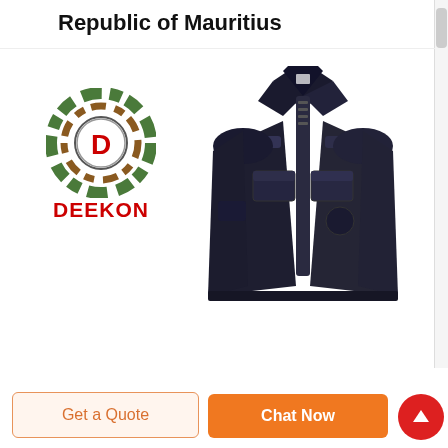Republic of Mauritius
[Figure (logo): DEEKON brand logo: concentric camouflage-patterned circles with a D in the center, and bold red text DEEKON below]
[Figure (photo): Dark navy/black military or security uniform jacket with epaulettes, chest pockets, zipper front, and patch details on a white background]
Get a Quote
Chat Now